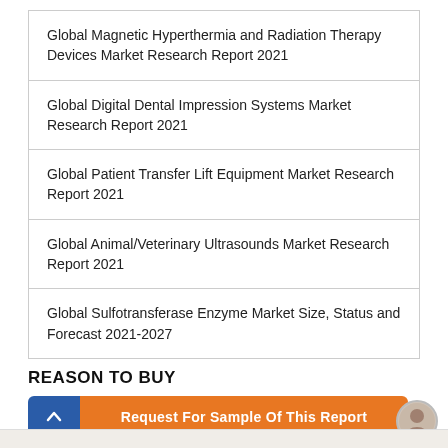| Global Magnetic Hyperthermia and Radiation Therapy Devices Market Research Report 2021 |
| Global Digital Dental Impression Systems Market Research Report 2021 |
| Global Patient Transfer Lift Equipment Market Research Report 2021 |
| Global Animal/Veterinary Ultrasounds Market Research Report 2021 |
| Global Sulfotransferase Enzyme Market Size, Status and Forecast 2021-2027 |
REASON TO BUY
Request For Sample Of This Report